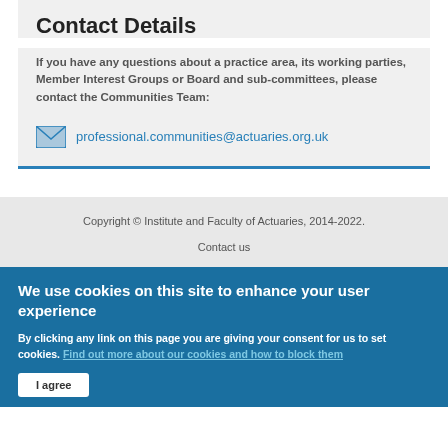Contact Details
If you have any questions about a practice area, its working parties, Member Interest Groups or Board and sub-committees, please contact the Communities Team:
professional.communities@actuaries.org.uk
Copyright © Institute and Faculty of Actuaries, 2014-2022.
Contact us
We use cookies on this site to enhance your user experience
By clicking any link on this page you are giving your consent for us to set cookies. Find out more about our cookies and how to block them
I agree